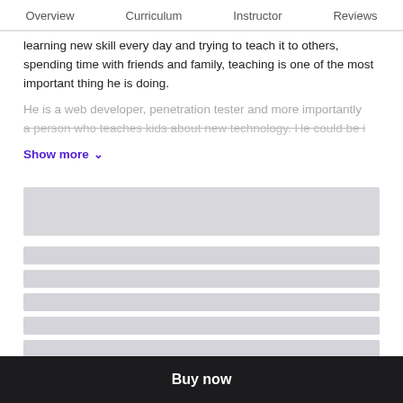Overview  Curriculum  Instructor  Reviews
learning new skill every day and trying to teach it to others, spending time with friends and family, teaching is one of the most important thing he is doing.
He is a web developer, penetration tester and more importantly a person who teaches kids about new technology. He could be...
Show more
[Figure (other): Loading skeleton placeholder bars — one tall bar and five short bars representing loading content]
Buy now